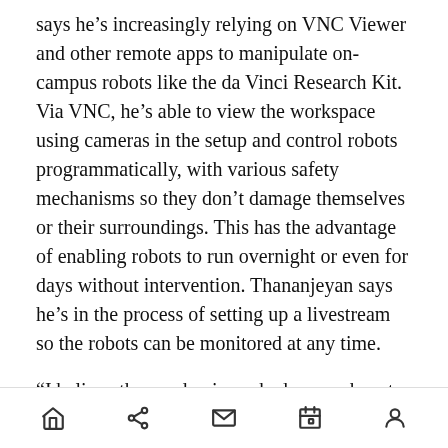says he’s increasingly relying on VNC Viewer and other remote apps to manipulate on-campus robots like the da Vinci Research Kit. Via VNC, he’s able to view the workspace using cameras in the setup and control robots programmatically, with various safety mechanisms so they don’t damage themselves or their surroundings. This has the advantage of enabling robots to run overnight or even for days without intervention. Thananjeyan says he’s in the process of setting up a livestream so the robots can be monitored at any time.
“I believe the pandemic pushed researchers to adapt, which took time,” Thananjeyan said. “I think the initial few months of shelter-in-place
home share mail calendar profile